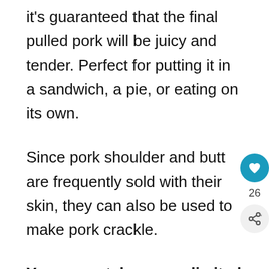it's guaranteed that the final pulled pork will be juicy and tender. Perfect for putting it in a sandwich, a pie, or eating on its own.
Since pork shoulder and butt are frequently sold with their skin, they can also be used to make pork crackle.
You are not, however, limited to making pulled pork or crispy pork skin from picnic shoulder.